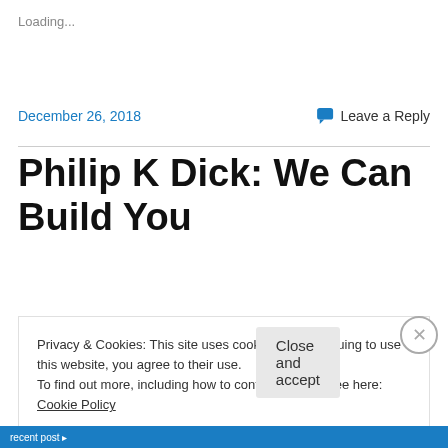Loading...
December 26, 2018
Leave a Reply
Philip K Dick: We Can Build You
[Figure (photo): Image of a spacecraft or UFO-like object against a blue cloudy sky]
Privacy & Cookies: This site uses cookies. By continuing to use this website, you agree to their use.
To find out more, including how to control cookies, see here: Cookie Policy
Close and accept